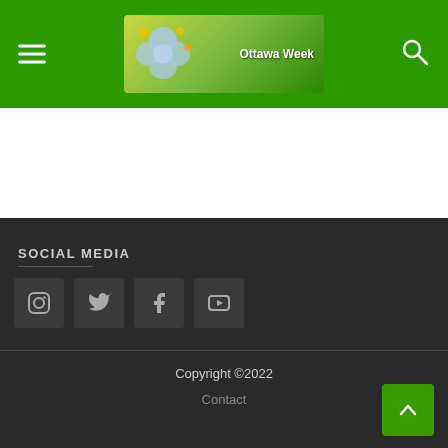Ottawa Week — navigation header with hamburger menu, logo, and search icon
SOCIAL MEDIA
[Figure (other): Social media icon buttons: Instagram, Twitter, Facebook, YouTube]
Copyright ©2022
Contact